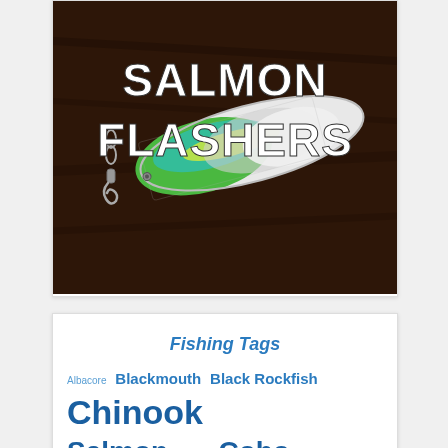[Figure (photo): Photo of a green/yellow/teal salmon flasher fishing lure on a dark wood surface, with text overlay reading 'SALMON FLASHERS' in bold white capital letters]
Fishing Tags
Albacore Blackmouth Black Rockfish Chinook Salmon [mid text] Coho Salmon